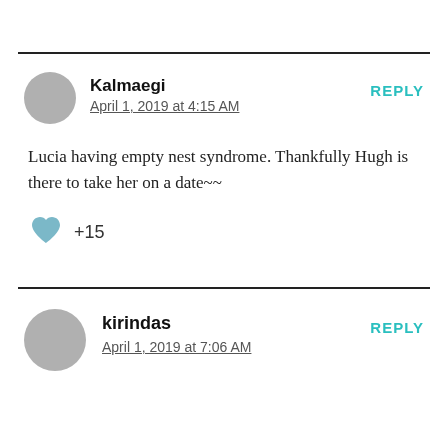Kalmaegi
April 1, 2019 at 4:15 AM
REPLY
Lucia having empty nest syndrome. Thankfully Hugh is there to take her on a date~~
+15
kirindas
April 1, 2019 at 7:06 AM
REPLY